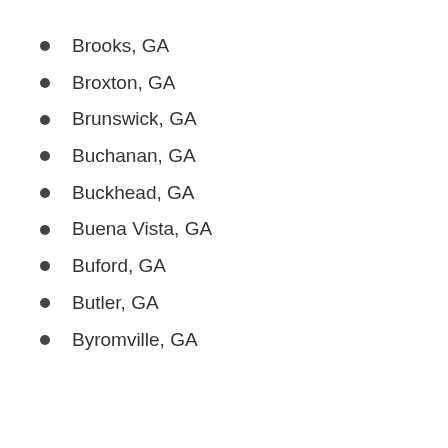Brooks, GA
Broxton, GA
Brunswick, GA
Buchanan, GA
Buckhead, GA
Buena Vista, GA
Buford, GA
Butler, GA
Byromville, GA